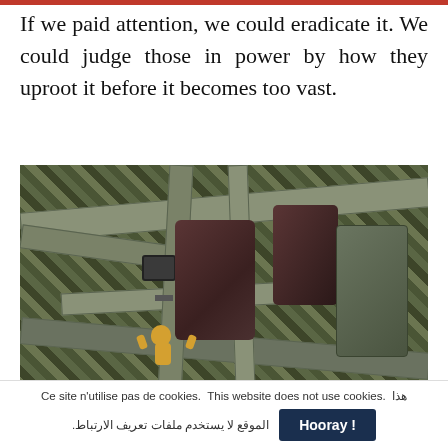If we paid attention, we could eradicate it. We could judge those in power by how they uproot it before it becomes too vast.
[Figure (photo): Close-up photo of military/tactical gear with camouflage vest straps and buckles, a dark-colored handgun or pistol in a holster, and a small yellow figurine hanging from a clip.]
Ce site n'utilise pas de cookies. This website does not use cookies. هذا الموقع لا يستخدم ملفات تعريف الارتباط. [Hooray! button]